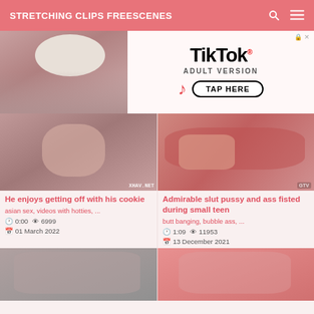STRETCHING CLIPS FREESCENES
[Figure (screenshot): TikTok Adult Version advertisement banner with person photo on left and TikTok logo with TAP HERE button on right]
[Figure (photo): Video thumbnail left - close-up face with watermark XHAV.NET]
He enjoys getting off with his cookie
asian sex, videos with hotties, ...
0:00  6999  01 March 2022
[Figure (photo): Video thumbnail right - hands on red yoga pants with logo watermark]
Admirable slut pussy and ass fisted during small teen
butt banging, bubble ass, ...
1:09  11953  13 December 2021
[Figure (photo): Video thumbnail bottom left - partial view]
[Figure (photo): Video thumbnail bottom right - two people close together, pink background]